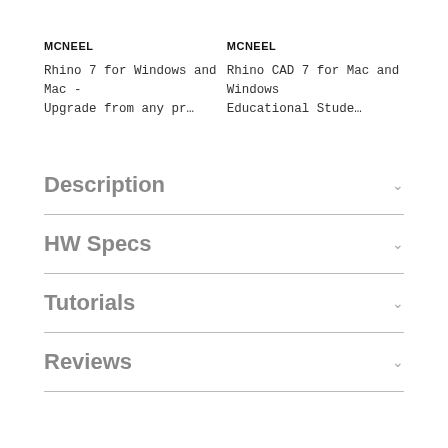MCNEEL
Rhino 7 for Windows and Mac - Upgrade from any pr…
MCNEEL
Rhino CAD 7 for Mac and Windows Educational Stude…
Description
HW Specs
Tutorials
Reviews